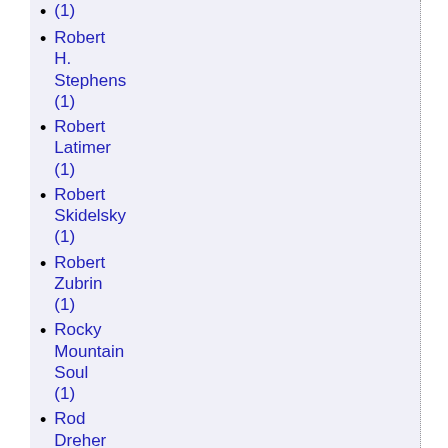(1)
Robert H. Stephens (1)
Robert Latimer (1)
Robert Skidelsky (1)
Robert Zubrin (1)
Rocky Mountain Soul (1)
Rod Dreher (1)
Roe v. Wade (1)